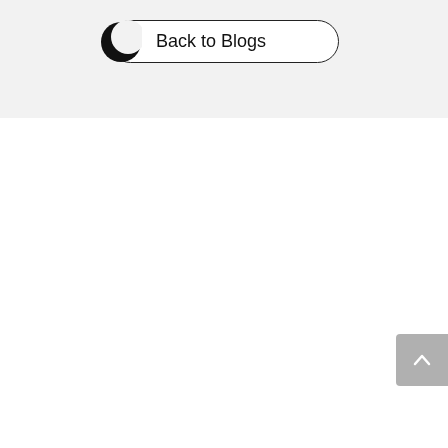[Figure (screenshot): A 'Back to Blogs' button with rounded pill shape, white background, black border, and a crescent moon icon on the left side, on a light gray background section.]
[Figure (other): A gray scroll-to-top button with an upward-pointing chevron arrow, positioned at the right edge of the page.]